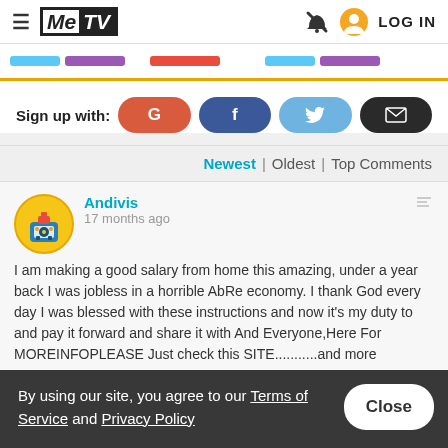MeTV | LOG IN
Sign up with:
Newest | Oldest | Top Comments
Andivis
17 months ago
I am making a good salary from home this amazing, under a year back I was jobless in a horrible AbRe economy. I thank God every day I was blessed with these instructions and now it's my duty to and pay it forward and share it with And Everyone,Here For MOREINFOPLEASE Just check this SITE...........and more
By using our site, you agree to our Terms of Service and Privacy Policy
Close